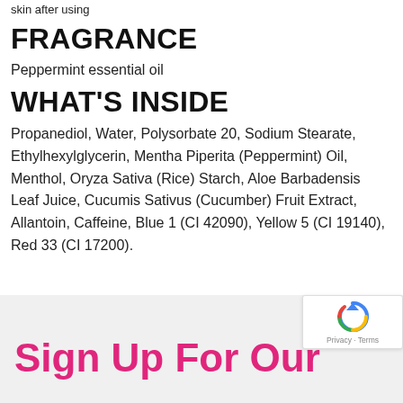skin after using
FRAGRANCE
Peppermint essential oil
WHAT'S INSIDE
Propanediol, Water, Polysorbate 20, Sodium Stearate, Ethylhexylglycerin, Mentha Piperita (Peppermint) Oil, Menthol, Oryza Sativa (Rice) Starch, Aloe Barbadensis Leaf Juice, Cucumis Sativus (Cucumber) Fruit Extract, Allantoin, Caffeine, Blue 1 (CI 42090), Yellow 5 (CI 19140), Red 33 (CI 17200).
Sign Up For Our